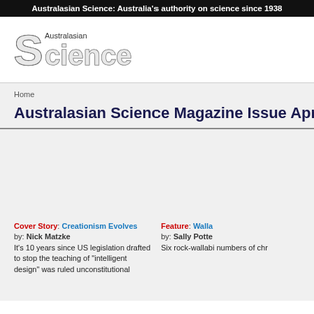Australasian Science: Australia's authority on science since 1938
[Figure (logo): Australasian Science magazine logo with stylized 'S' and text]
Home
Australasian Science Magazine Issue Apri
Cover Story: Creationism Evolves
by: Nick Matzke
It's 10 years since US legislation drafted to stop the teaching of "intelligent design" was ruled unconstitutional
Feature: Walla
by: Sally Potte
Six rock-wallabi numbers of chr